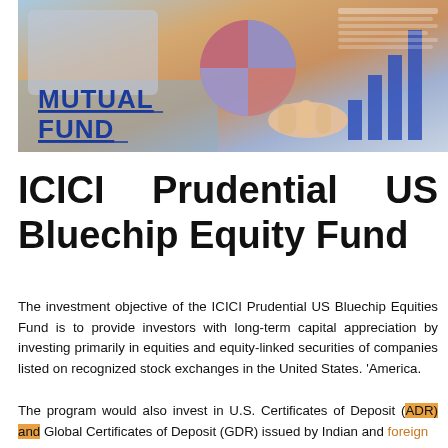[Figure (photo): Banner image showing mutual fund materials — pie chart, bar charts, financial documents, and a hand pointing, with 'MUTUAL FUND' text overlaid in bold blue underlined letters]
ICICI Prudential US Bluechip Equity Fund
The investment objective of the ICICI Prudential US Bluechip Equities Fund is to provide investors with long-term capital appreciation by investing primarily in equities and equity-linked securities of companies listed on recognized stock exchanges in the United States. 'America.
The program would also invest in U.S. Certificates of Deposit (ADR) and Global Certificates of Deposit (GDR) issued by Indian and foreign